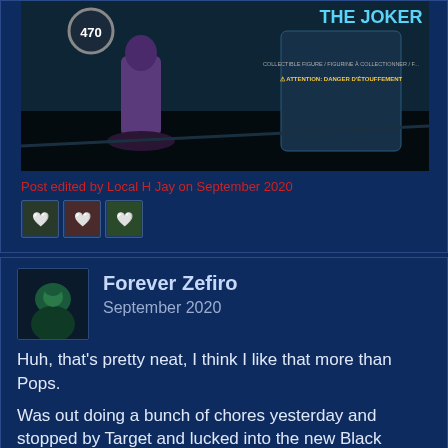[Figure (photo): Photo of a Joker Funko Pop figure (#470) next to its box/can packaging on a surface, dark teal-tinted image]
Post edited by Local H Jay on September 2020
[Figure (photo): Three small reaction/like icons from forum users]
Forever Zefiro
September 2020
Huh, that's pretty neat, I think I like that more than Pops.
Was out doing a bunch of chores yesterday and stopped by Target and lucked into the new Black Series Hondo "transported" from Galaxy's Edge:
[Figure (photo): Partial view of a Black Series Hondo figure on white background]